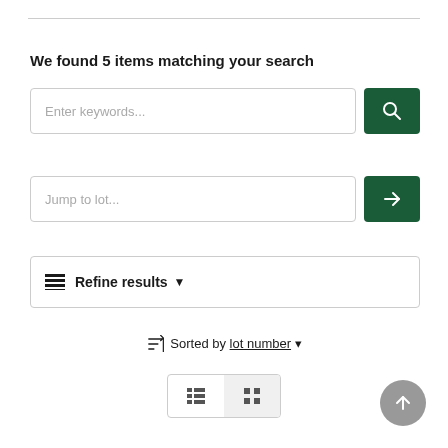We found 5 items matching your search
Enter keywords...
Jump to lot...
Refine results
Sorted by lot number